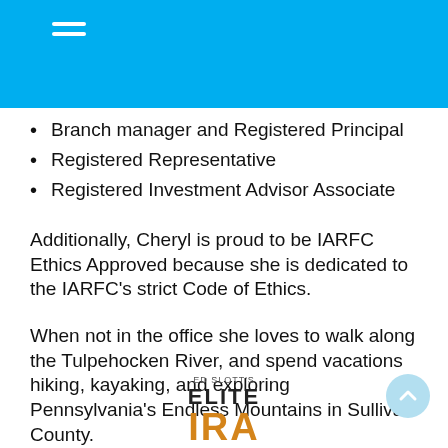Branch manager and Registered Principal
Registered Representative
Registered Investment Advisor Associate
Additionally, Cheryl is proud to be IARFC Ethics Approved because she is dedicated to the IARFC's strict Code of Ethics.
When not in the office she loves to walk along the Tulpehocken River, and spend vacations hiking, kayaking, and exploring Pennsylvania's Endless Mountains in Sullivan County.
Cheryl Dorko in a word: Perceptive
[Figure (logo): Ed Slott's Elite IRA logo with 'ED SLOTT'S' in small caps, 'ELITE' in bold black, and 'IRA' partially visible in gold/orange at the bottom]